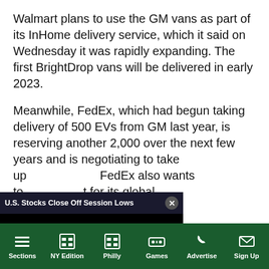Walmart plans to use the GM vans as part of its InHome delivery service, which it said on Wednesday it was rapidly expanding. The first BrightDrop vans will be delivered in early 2023.
Meanwhile, FedEx, which had begun taking delivery of 500 EVs from GM last year, is reserving another 2,000 over the next few years and is negotiating to take up [more]. FedEx also wants to [use them] for its global [operations].
[Figure (screenshot): Video player overlay popup with title bar 'U.S. Stocks Close Off Session Lows', a close button (X), a black video area with a yellow mute button and a blue loading spinner.]
Sections | NY Edition | Philly | Games | Advertise | Sign Up